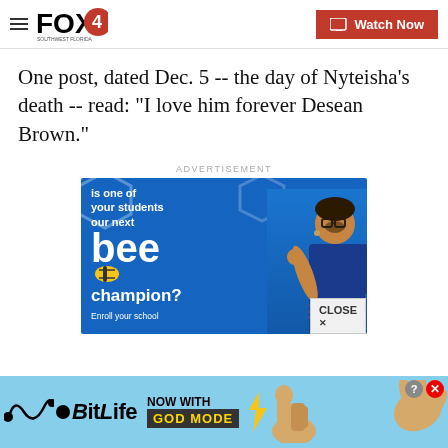FOX4 | Watch Now
One post, dated Dec. 5 -- the day of Nyteisha's death -- read: "I love him forever Desean Brown."
ADVERTISEMENT
[Figure (illustration): Advertisement for Scripps National Spelling Bee: blue background with text 'is one of your students our next bee champion? Enroll your school' and a smiling girl with glasses]
[Figure (illustration): BitLife mobile game advertisement banner: 'NOW WITH GOD MODE' text on light blue background with cartoon hands and lightning bolt graphics]